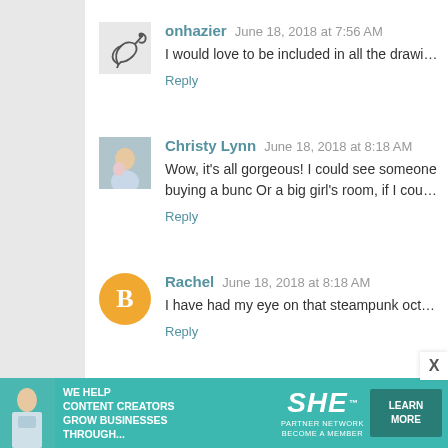onhazier  June 18, 2018 at 7:56 AM
I would love to be included in all the drawings please. Than...
Reply
Christy Lynn  June 18, 2018 at 8:18 AM
Wow, it's all gorgeous! I could see someone buying a bunc...
Or a big girl's room, if I could convince my husband... :D Th...
Reply
Rachel  June 18, 2018 at 8:18 AM
I have had my eye on that steampunk octopus for awhile no...
Reply
Maris  June 18, 2018 at 8:24 AM
Love The Doctor print!
Reply
[Figure (infographic): SHE Media Partner Network advertisement banner: teal background, text 'We help content creators grow businesses through...', SHE logo, 'Learn More' button]